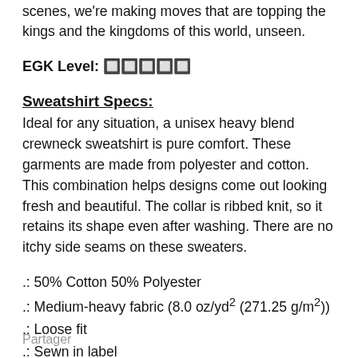scenes, we're making moves that are topping the kings and the kingdoms of this world, unseen.
EGK Level: 🔲🔲🔲🔲🔲
Sweatshirt Specs:
Ideal for any situation, a unisex heavy blend crewneck sweatshirt is pure comfort. These garments are made from polyester and cotton. This combination helps designs come out looking fresh and beautiful. The collar is ribbed knit, so it retains its shape even after washing. There are no itchy side seams on these sweaters.
.: 50% Cotton 50% Polyester
.: Medium-heavy fabric (8.0 oz/yd² (271.25 g/m²))
.: Loose fit
.: Sewn in label
.: Runs true to size
Partager